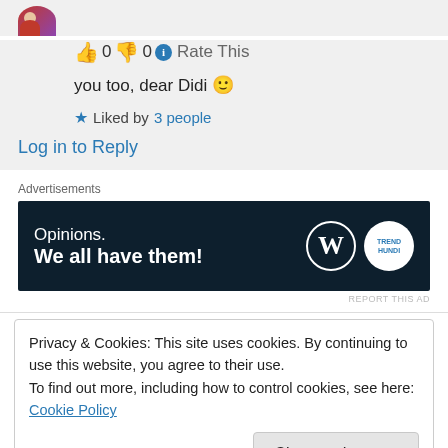[Figure (photo): User avatar photo partially visible at top]
👍 0 👎 0 ℹ Rate This
you too, dear Didi 🙂
★ Liked by 3 people
Log in to Reply
Advertisements
[Figure (other): WordPress.com ad banner: Opinions. We all have them! with WordPress and Trend Hundi logos on dark background]
REPORT THIS AD
Privacy & Cookies: This site uses cookies. By continuing to use this website, you agree to their use.
To find out more, including how to control cookies, see here: Cookie Policy
Close and accept